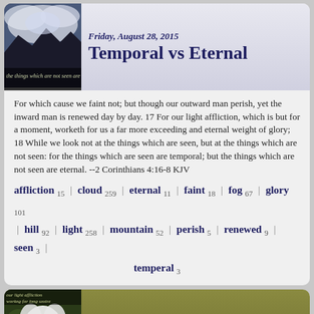Friday, August 28, 2015
Temporal vs Eternal
[Figure (photo): Landscape photo with mountains and clouds, text overlay reading 'the things which are not seen are']
For which cause we faint not; but though our outward man perish, yet the inward man is renewed day by day. 17 For our light affliction, which is but for a moment, worketh for us a far more exceeding and eternal weight of glory; 18 While we look not at the things which are seen, but at the things which are not seen: for the things which are seen are temporal; but the things which are not seen are eternal. --2 Corinthians 4:16-8 KJV
affliction 15 | cloud 259 | eternal 11 | faint 18 | fog 67 | glory 101 | hill 92 | light 258 | mountain 52 | perish 5 | renewed 9 | seen 3 | temperal 3
Monday, November 10, 2014
Our Light Affliction
[Figure (photo): Photo of white flower with text overlays about light affliction and eternal weight of glory]
For our light affliction, which is but for a moment, worketh for us a far more exceeding and eternal weight of glory;